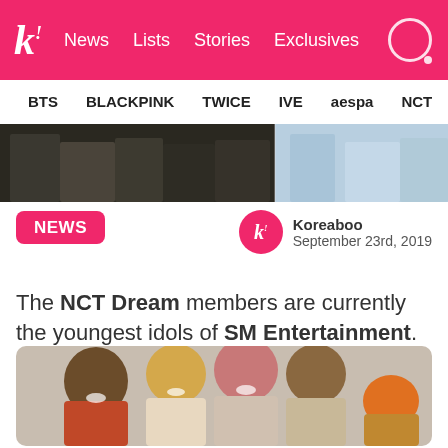k! News Lists Stories Exclusives
BTS BLACKPINK TWICE IVE aespa NCT SEVE
[Figure (photo): Banner image showing K-pop artists/groups, dark background on left, light blue on right]
NEWS
Koreaboo
September 23rd, 2019
The NCT Dream members are currently the youngest idols of SM Entertainment.
[Figure (photo): Photo of NCT Dream members smiling together, various hair colors including blonde, pink/rose, and brown]